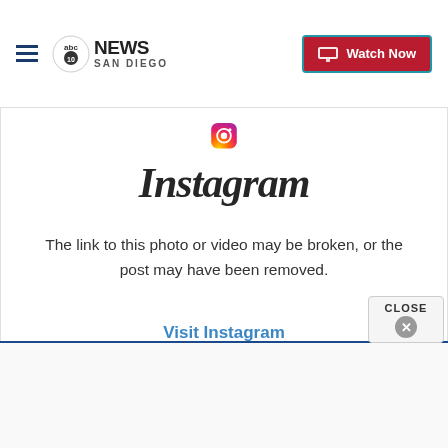ABC 10 News San Diego | Watch Now
[Figure (screenshot): Instagram broken link error page showing the Instagram logo (camera icon) and wordmark, with message 'The link to this photo or video may be broken, or the post may have been removed.' and a 'Visit Instagram' link in blue.]
The link to this photo or video may be broken, or the post may have been removed.
Visit Instagram